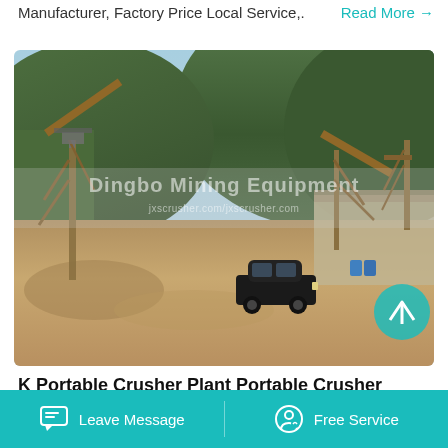Manufacturer, Factory Price Local Service,.
Read More →
[Figure (photo): Outdoor quarry/mining site with large conveyor belt machinery structures, green forested mountain in background, dirt ground, a dark SUV parked in the foreground. Watermark reads 'Dingbo Mining Equipment' and 'jxscrusher.com/jxscrusher.com'.]
K Portable Crusher Plant Portable Crusher Price & Sale
Leave Message   Free Service